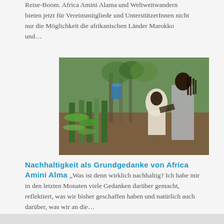Reise-Boom. Africa Amini Alama und Weltweitwandern bieten jetzt für Vereinsmitgliede und UnterstützerInnen nicht nur die Möglichkeit die afrikanischen Länder Marokko und…
[Figure (photo): Two people bending over rows of seedlings or plants in a nursery or garden setting with trees in the background]
Nachhaltigkeit als Grundgedanke von Africa Amini Alma
„Was ist denn wirklich nachhaltig? Ich habe mir in den letzten Monaten viele Gedanken darüber gemacht, reflektiert, was wir bisher geschaffen haben und natürlich auch darüber, was wir an die…